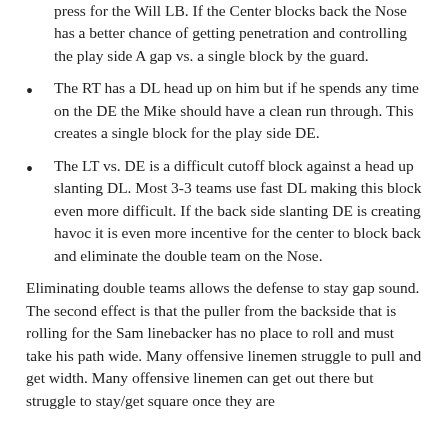press for the Will LB. If the Center blocks back the Nose has a better chance of getting penetration and controlling the play side A gap vs. a single block by the guard.
The RT has a DL head up on him but if he spends any time on the DE the Mike should have a clean run through. This creates a single block for the play side DE.
The LT vs. DE is a difficult cutoff block against a head up slanting DL. Most 3-3 teams use fast DL making this block even more difficult. If the back side slanting DE is creating havoc it is even more incentive for the center to block back and eliminate the double team on the Nose.
Eliminating double teams allows the defense to stay gap sound. The second effect is that the puller from the backside that is rolling for the Sam linebacker has no place to roll and must take his path wide. Many offensive linemen struggle to pull and get width. Many offensive linemen can get out there but struggle to stay/get square once they are